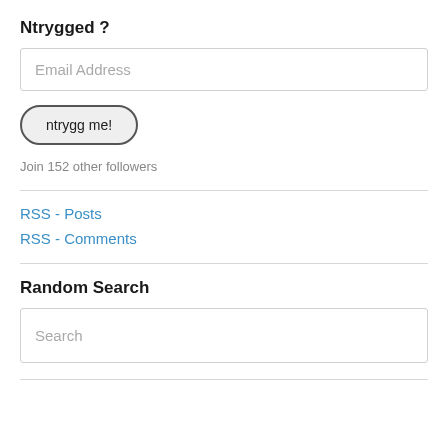Ntrygged ?
[Figure (screenshot): Email Address input field placeholder]
[Figure (screenshot): Button labeled 'ntrygg me!' with rounded pill shape]
Join 152 other followers
RSS - Posts
RSS - Comments
Random Search
[Figure (screenshot): Search input field with placeholder text 'Search']